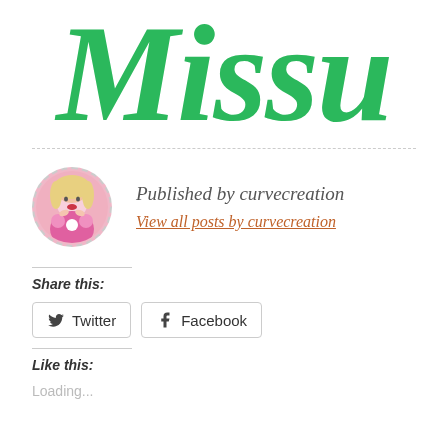[Figure (logo): Green handwritten-style 'Missu' logo text in large cursive font]
Published by curvecreation
View all posts by curvecreation
Share this:
Twitter
Facebook
Like this:
Loading...